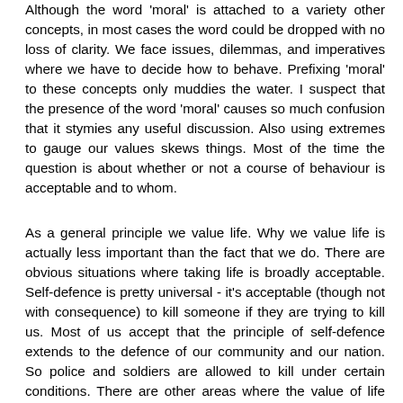Although the word 'moral' is attached to a variety other concepts, in most cases the word could be dropped with no loss of clarity. We face issues, dilemmas, and imperatives where we have to decide how to behave. Prefixing 'moral' to these concepts only muddies the water. I suspect that the presence of the word 'moral' causes so much confusion that it stymies any useful discussion. Also using extremes to gauge our values skews things. Most of the time the question is about whether or not a course of behaviour is acceptable and to whom.
As a general principle we value life. Why we value life is actually less important than the fact that we do. There are obvious situations where taking life is broadly acceptable. Self-defence is pretty universal - it's acceptable (though not with consequence) to kill someone if they are trying to kill us. Most of us accept that the principle of self-defence extends to the defence of our community and our nation. So police and soldiers are allowed to kill under certain conditions. There are other areas where the value of life creates conflict, for example abortion. Is killing an embryo the same as killing a person? Some argue it is and some not, but in frameworks that we use for our study. Similarly, for killing an is...